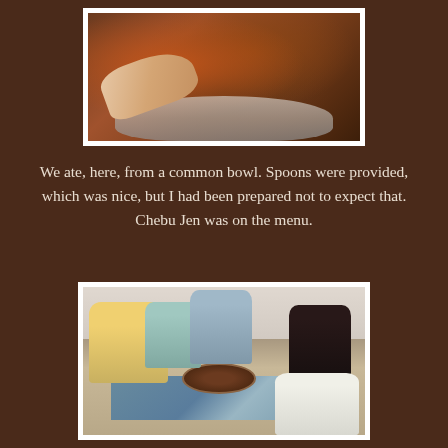[Figure (photo): Close-up photo of a large shared bowl of Chebu Jen (rice and fish dish) with a hand reaching into it and a spoon visible]
We ate, here, from a common bowl. Spoons were provided, which was nice, but I had been prepared not to expect that. Chebu Jen was on the menu.
[Figure (photo): Photo of a group of people sitting on the floor around a common bowl of food, eating together in a room with white walls]